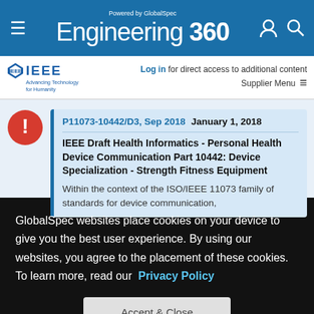Engineering 360 - Powered by GlobalSpec
[Figure (logo): IEEE logo with diamond shape and tagline Advancing Technology for Humanity]
Register or Log in for direct access to additional content Supplier Menu
P11073-10442/D3, Sep 2018  January 1, 2018
IEEE Draft Health Informatics - Personal Health Device Communication Part 10442: Device Specialization - Strength Fitness Equipment
Within the context of the ISO/IEEE 11073 family of standards for device communication,
GlobalSpec websites place cookies on your device to give you the best user experience. By using our websites, you agree to the placement of these cookies. To learn more, read our Privacy Policy
Accept & Close